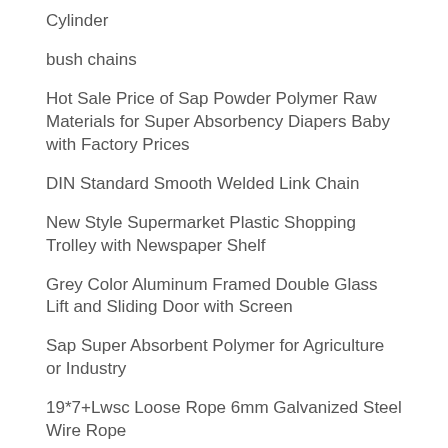Cylinder
bush chains
Hot Sale Price of Sap Powder Polymer Raw Materials for Super Absorbency Diapers Baby with Factory Prices
DIN Standard Smooth Welded Link Chain
New Style Supermarket Plastic Shopping Trolley with Newspaper Shelf
Grey Color Aluminum Framed Double Glass Lift and Sliding Door with Screen
Sap Super Absorbent Polymer for Agriculture or Industry
19*7+Lwsc Loose Rope 6mm Galvanized Steel Wire Rope
12V 5A 60W Energy Efficience Desktop Type Adapter Power Supply AC Cable with EU Us UK Plug OEM C6 C8 C14 Socket Certified by Ce UL FCC